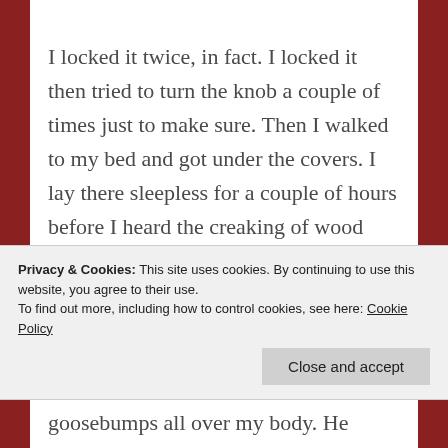I locked it twice, in fact. I locked it then tried to turn the knob a couple of times just to make sure. Then I walked to my bed and got under the covers. I lay there sleepless for a couple of hours before I heard the creaking of wood outside my bedroom door.
My eyes moved to the door immediately. I was comforted for a few seconds from the fact that the knob remained stable. It wasn't long, however,
Privacy & Cookies: This site uses cookies. By continuing to use this website, you agree to their use.
To find out more, including how to control cookies, see here: Cookie Policy
goosebumps all over my body. He made a point by